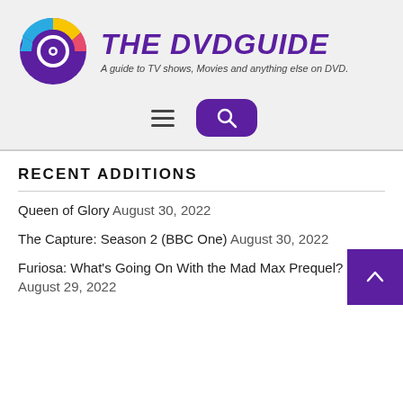[Figure (logo): The DVDGuide website logo: colorful DVD disc icon (purple, blue, yellow, red) on left, bold italic purple text 'THE DVDGUIDE' on right with subtitle 'A guide to TV shows, Movies and anything else on DVD.']
[Figure (other): Navigation row with hamburger menu icon (three horizontal lines) and a purple rounded search button with magnifying glass icon]
RECENT ADDITIONS
Queen of Glory August 30, 2022
The Capture: Season 2 (BBC One) August 30, 2022
Furiosa: What's Going On With the Mad Max Prequel? August 29, 2022